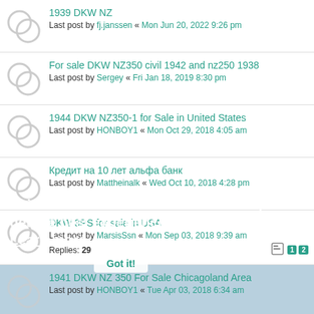1939 DKW NZ
Last post by fj.janssen « Mon Jun 20, 2022 9:26 pm
For sale DKW NZ350 civil 1942 and nz250 1938
Last post by Sergey « Fri Jan 18, 2019 8:30 pm
1944 DKW NZ350-1 for Sale in United States
Last post by HONBOY1 « Mon Oct 29, 2018 4:05 am
Кредит на 10 лет альфа банк
Last post by Mattheinalk « Wed Oct 10, 2018 4:28 pm
DKW 3PS for sale in USA
Last post by MarsisSsn « Mon Sep 03, 2018 9:39 am
Replies: 29
1941 DKW NZ 350 For Sale Chicagoland Area
Last post by HONBOY1 « Tue Apr 03, 2018 6:34 am
NZ350 fore sale in the Netherlands
Last post by Motorboy13 « Sat Feb 03, 2018 2:04 pm
nz 350 in Holland, prices are going up!
Last post by Dirk « Fri Aug 18, 2017 8:02 pm
Nz 350 -1 for sale
This website uses cookies to ensure you get the best experience on our website. Learn more
Got it!